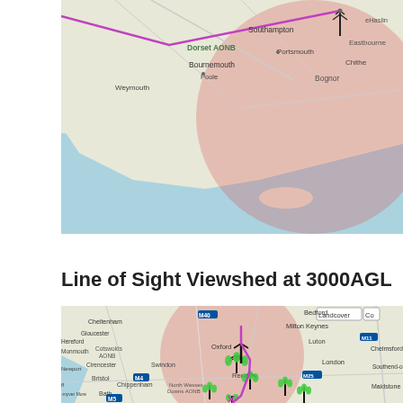[Figure (map): Map showing southern England including Southampton, Portsmouth, Bournemouth, Dorset AONB, Weymouth, Poole and coastal areas. A large pink/red circular coverage area is overlaid centered around Portsmouth/Southampton area. A radio antenna icon is visible near Southampton. A magenta line runs from upper left. Blue sea visible to south.]
Line of Sight Viewshed at 3000AGL
[Figure (map): Map showing central England including Bedford, Milton Keynes, Oxford, Luton, London, Chelmsford, Southend, Gloucester, Cotswolds AONB, Swindon, Bristol, Bath, Reading, Maidstone. Multiple radio antenna icons (black towers with green antennas) scattered across the map. A large pink/red circular coverage area centered around Swindon/Oxford region. A magenta line connects antenna icons. 'Landcover' and 'Co' buttons visible in top right. Road network overlaid on map.]